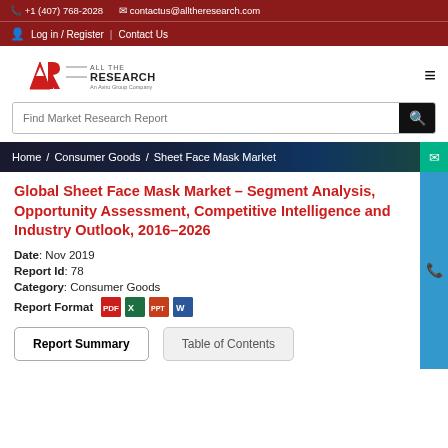+1 (407) 768-2028   contactus@alltheresearch.com
Log in / Register | Contact Us
[Figure (logo): All The Research logo - AR monogram with text 'ALL THE RESEARCH, An Aviro Group Company']
Find Market Research Report
Home / Consumer Goods / Sheet Face Mask Market
Global Sheet Face Mask Market - Segment Analysis, Opportunity Assessment, Competitive Intelligence and Industry Outlook, 2016-2026
Date: Nov 2019
Report Id: 78
Category: Consumer Goods
Report Format [PDF] [Excel] [PPT] [Word]
Report Summary
Table of Contents